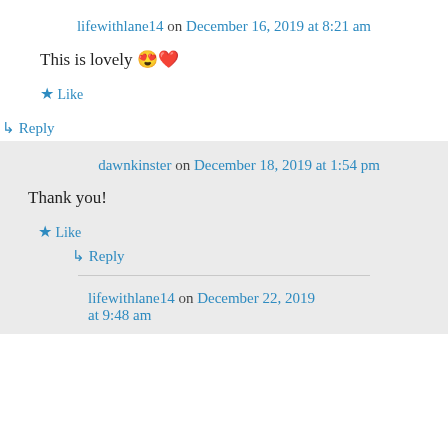lifewithlane14 on December 16, 2019 at 8:21 am
This is lovely 😍❤️
★ Like
↳ Reply
dawnkinster on December 18, 2019 at 1:54 pm
Thank you!
★ Like
↳ Reply
lifewithlane14 on December 22, 2019 at 9:48 am